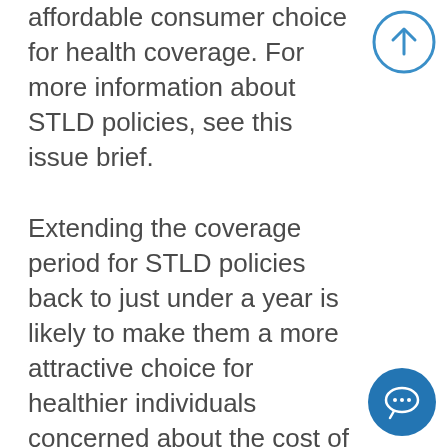affordable consumer choice for health coverage. For more information about STLD policies, see this issue brief.

Extending the coverage period for STLD policies back to just under a year is likely to make them a more attractive choice for healthier individuals concerned about the cost of ACA-compliant plans. This is particularly true beginning in 2019 when the individual mandate penalty ends and purchasers will
[Figure (other): Circular up-arrow button (outline style, blue stroke) for scrolling to top]
[Figure (other): Circular chat/message icon button (solid blue fill, white chat bubble icon)]